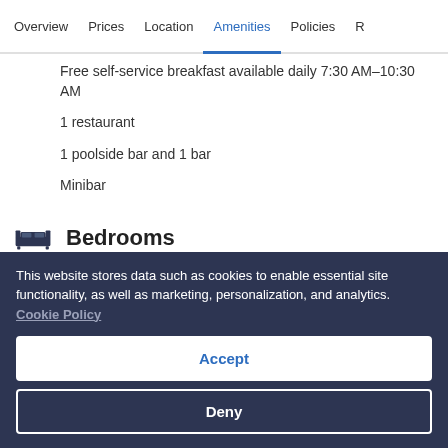Overview  Prices  Location  Amenities  Policies  R
Free self-service breakfast available daily 7:30 AM–10:30 AM
1 restaurant
1 poolside bar and 1 bar
Minibar
Bedrooms
Premium bedding
Rollaway/extra beds: TRY 100.0 per stay
This website stores data such as cookies to enable essential site functionality, as well as marketing, personalization, and analytics. Cookie Policy
Accept
Deny